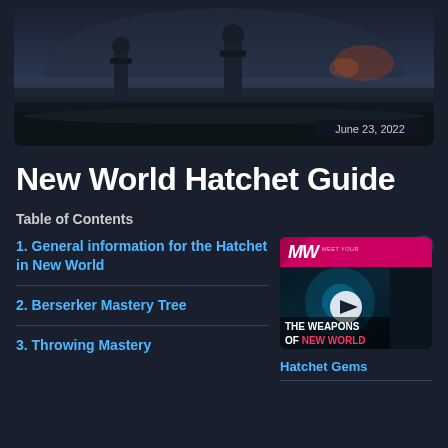[Figure (photo): Dark cinematic game screenshot showing two figures on horseback or standing in a misty, war-torn environment with fires in background. Date badge shows June 23, 2022.]
New World Hatchet Guide
Table of Contents
1. General information for the Hatchet in New World
2. Berserker Mastery Tree
3. Throwing Mastery
[Figure (screenshot): Video thumbnail with MeetYourWorld (MW) logo in pink/magenta bar at top, dark sci-fi game scene with play button, caption reads THE WEAPONS OF NEW WORLD]
Hatchet Gems